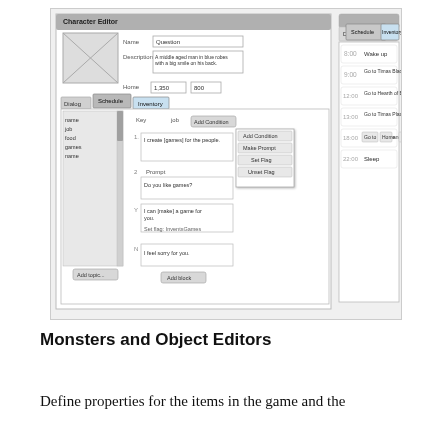[Figure (screenshot): Screenshot of a game editor tool showing two panels: a Character Editor with dialog/schedule/inventory tabs on the left with dialog tree entries and a schedule panel on the right showing timed activities (8:00 Wake up, 9:00 Go to Timas Blacksmith and Stay, 12:00 Go to Hearth of Britannia and Stay, 13:00 Go to Timas Plaza and Wander Around, 18:00 Go to... Home... and Stay, 22:00 Sleep)]
Monsters and Object Editors
Define properties for the items in the game and the